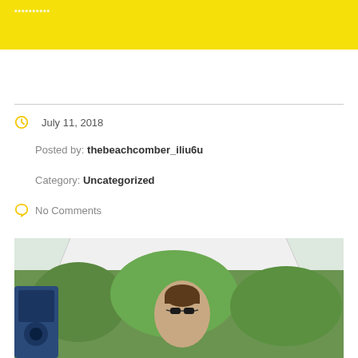**********
July 11, 2018
Posted by: thebeachcomber_iliu6u
Category: Uncategorized
No Comments
[Figure (photo): Person wearing sunglasses seated under a white canopy/tent outdoors, with green trees in background and a blue speaker or equipment visible on the left side.]